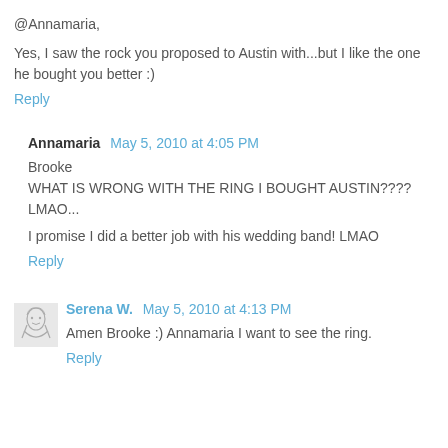@Annamaria,
Yes, I saw the rock you proposed to Austin with...but I like the one he bought you better :)
Reply
Annamaria  May 5, 2010 at 4:05 PM
Brooke
WHAT IS WRONG WITH THE RING I BOUGHT AUSTIN???? LMAO...

I promise I did a better job with his wedding band! LMAO
Reply
Serena W.  May 5, 2010 at 4:13 PM
Amen Brooke :) Annamaria I want to see the ring.
Reply